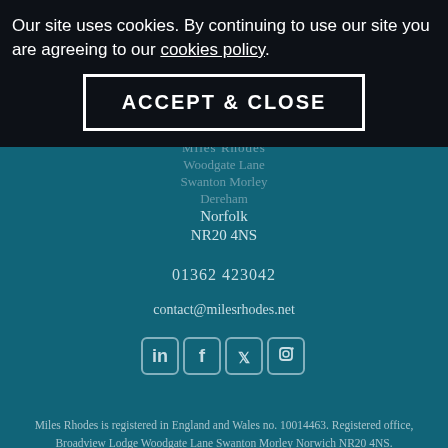Our site uses cookies. By continuing to use our site you are agreeing to our cookies policy.
ACCEPT & CLOSE
Miles Rhodes
Woodgate Lane
Swanton Morley
Dereham
Norfolk
NR20 4NS
01362 423042
contact@milesrhodes.net
[Figure (infographic): Social media icons: LinkedIn, Facebook, Twitter, Instagram]
Miles Rhodes is registered in England and Wales no. 10014463. Registered office, Broadview Lodge Woodgate Lane Swanton Morley Norwich NR20 4NS.